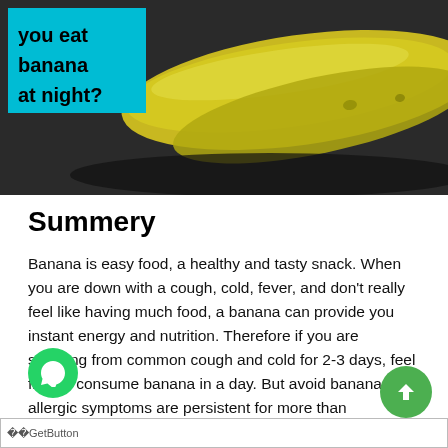[Figure (photo): Hero image showing bananas with teal overlay box containing text 'you eat banana at night?']
Summery
Banana is easy food, a healthy and tasty snack. When you are down with a cough, cold, fever, and don't really feel like having much food, a banana can provide you instant energy and nutrition. Therefore if you are suffering from common cough and cold for 2-3 days, feel free to consume banana in a day. But avoid banana if the allergic symptoms are persistent for more than two weeks.
GetButton